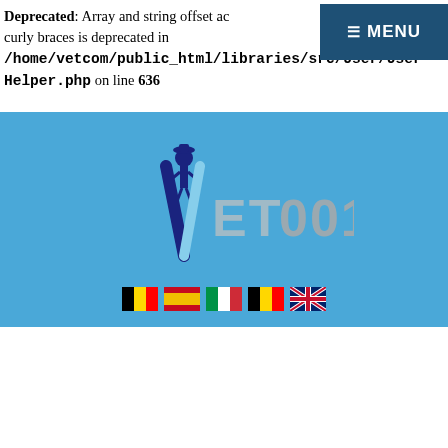Deprecated: Array and string offset access syntax with curly braces is deprecated in /home/vetcom/public_html/libraries/src/User/UserHelper.php on line 636
[Figure (screenshot): Blue banner with VET001 logo and 5 country flags (Belgian, Spanish, Italian, Belgian, UK)]
Deprecated: Cannot use "parent" when